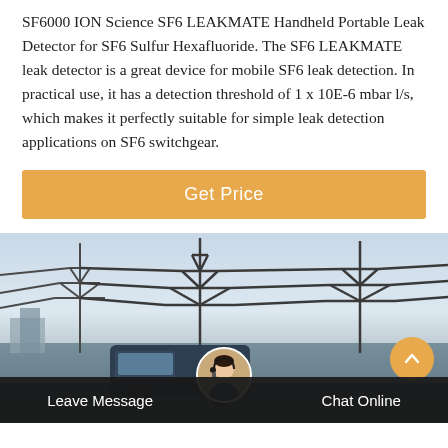SF6000 ION Science SF6 LEAKMATE Handheld Portable Leak Detector for SF6 Sulfur Hexafluoride. The SF6 LEAKMATE leak detector is a great device for mobile SF6 leak detection. In practical use, it has a detection threshold of 1 x 10E-6 mbar l/s, which makes it perfectly suitable for simple leak detection applications on SF6 switchgear.
[Figure (other): Orange 'Get Price' button]
[Figure (photo): Photo of electrical transmission towers/switchgear infrastructure with a vehicle in the foreground, taken outdoors at dusk/dawn. Overlay shows a customer service representative avatar and a dark bottom bar with 'Leave Message' and 'Chat Online' options.]